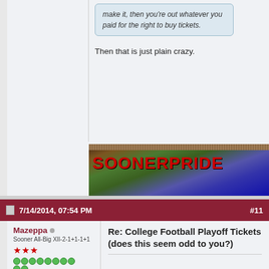make it, then you're out whatever you paid for the right to buy tickets.
Then that is just plain crazy.
[Figure (illustration): SOONERPRIDE banner image with football field and American flag]
7/14/2014, 07:54 PM  #11
Mazeppa
Sooner All-Big XII-2-1+1-1+1
Re: College Football Playoff Tickets (does this seem odd to you?)